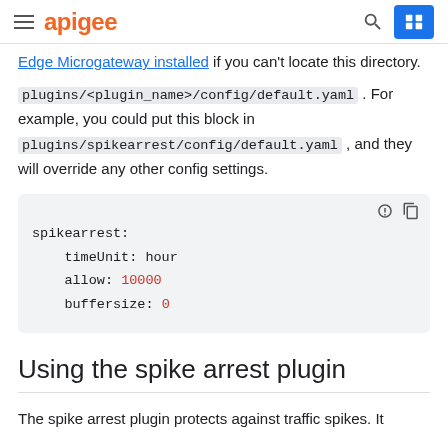apigee
Edge Microgateway installed if you can't locate this directory.
plugins/<plugin_name>/config/default.yaml . For example, you could put this block in plugins/spikearrest/config/default.yaml , and they will override any other config settings.
[Figure (screenshot): Code block showing spikearrest YAML configuration: spikearrest: timeUnit: hour allow: 10000 buffersize: 0]
Using the spike arrest plugin
The spike arrest plugin protects against traffic spikes. It